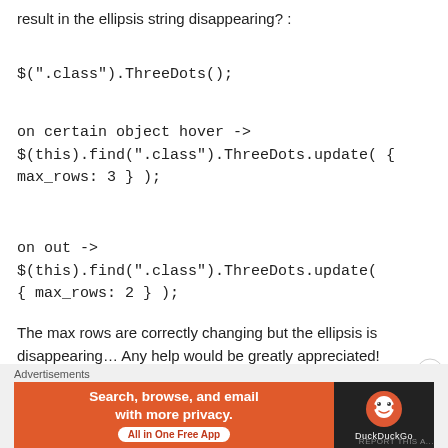result in the ellipsis string disappearing? :
$(".class").ThreeDots();
on certain object hover -> $(this).find(".class").ThreeDots.update( { max_rows: 3 } );
on out -> $(this).find(".class").ThreeDots.update( { max_rows: 2 } );
The max rows are correctly changing but the ellipsis is disappearing… Any help would be greatly appreciated!
Advertisements
[Figure (other): DuckDuckGo advertisement banner: 'Search, browse, and email with more privacy. All in One Free App' with DuckDuckGo logo on dark background.]